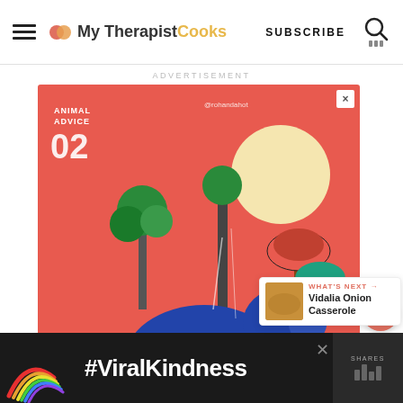My Therapist Cooks — SUBSCRIBE
ADVERTISEMENT
[Figure (illustration): Colorful illustrated advertisement with stylized blue elephants in a coral/red jungle scene. Text reads: ANIMAL ADVICE 02, @rohandahot, STAY HOME, Now is a great time to spend with your family. Enjoy these moments with your loved ones.]
WHAT'S NEXT → Vidalia Onion Casserole
[Figure (illustration): Bottom advertisement strip with rainbow illustration and text #ViralKindness on dark background]